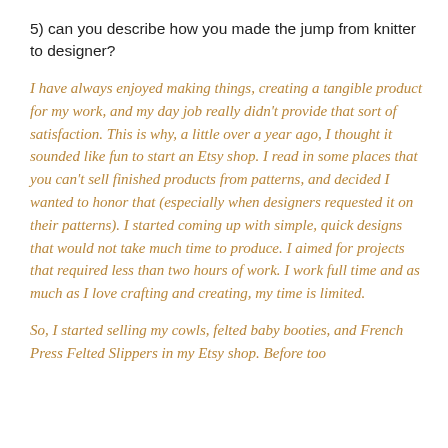5) can you describe how you made the jump from knitter to designer?
I have always enjoyed making things, creating a tangible product for my work, and my day job really didn't provide that sort of satisfaction. This is why, a little over a year ago, I thought it sounded like fun to start an Etsy shop. I read in some places that you can't sell finished products from patterns, and decided I wanted to honor that (especially when designers requested it on their patterns). I started coming up with simple, quick designs that would not take much time to produce. I aimed for projects that required less than two hours of work. I work full time and as much as I love crafting and creating, my time is limited.
So, I started selling my cowls, felted baby booties, and French Press Felted Slippers in my Etsy shop. Before too